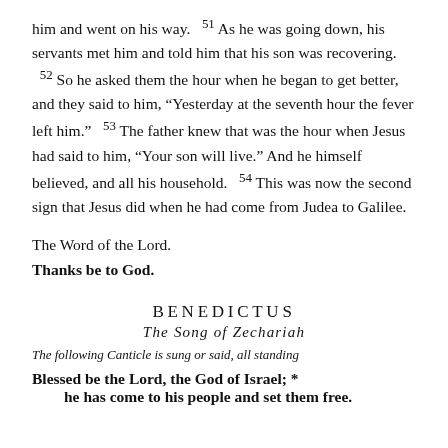him and went on his way. ⁵¹ As he was going down, his servants met him and told him that his son was recovering. ⁵² So he asked them the hour when he began to get better, and they said to him, “Yesterday at the seventh hour the fever left him.” ⁵³ The father knew that was the hour when Jesus had said to him, “Your son will live.” And he himself believed, and all his household. ⁵⁴ This was now the second sign that Jesus did when he had come from Judea to Galilee.
The Word of the Lord.
Thanks be to God.
BENEDICTUS
The Song of Zechariah
The following Canticle is sung or said, all standing
Blessed be the Lord, the God of Israel; *
he has come to his people and set them free.